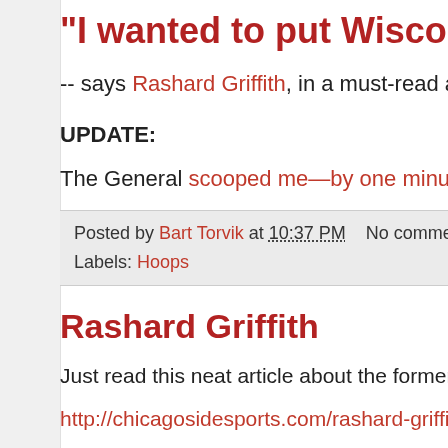"I wanted to put Wisconsin o...
-- says Rashard Griffith, in a must-read article fo...
UPDATE:
The General scooped me—by one minute.
Posted by Bart Torvik at 10:37 PM    No comments:
Labels: Hoops
Rashard Griffith
Just read this neat article about the former Badg...
http://chicagosidesports.com/rashard-griffiths-se...
I still remember that guy cruising around campu...